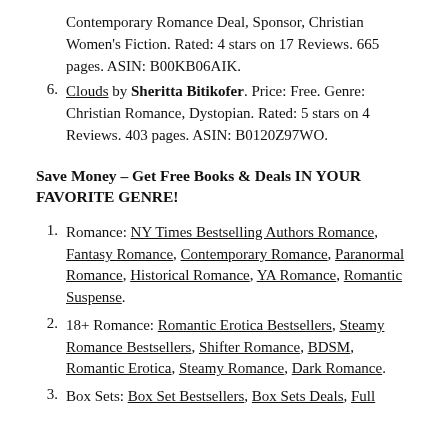Contemporary Romance Deal, Sponsor, Christian Women's Fiction. Rated: 4 stars on 17 Reviews. 665 pages. ASIN: B00KB06AIK.
Clouds by Sheritta Bitikofer. Price: Free. Genre: Christian Romance, Dystopian. Rated: 5 stars on 4 Reviews. 403 pages. ASIN: B0120Z97WO.
Save Money – Get Free Books & Deals IN YOUR FAVORITE GENRE!
Romance: NY Times Bestselling Authors Romance, Fantasy Romance, Contemporary Romance, Paranormal Romance, Historical Romance, YA Romance, Romantic Suspense.
18+ Romance: Romantic Erotica Bestsellers, Steamy Romance Bestsellers, Shifter Romance, BDSM, Romantic Erotica, Steamy Romance, Dark Romance.
Box Sets: Box Set Bestsellers, Box Sets Deals, Full